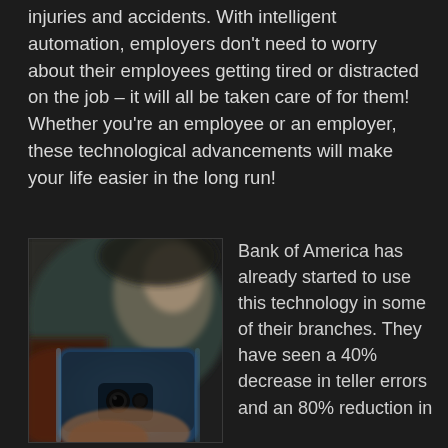injuries and accidents. With intelligent automation, employers don't need to worry about their employees getting tired or distracted on the job – it will all be taken care of for them! Whether you're an employee or an employer, these technological advancements will make your life easier in the long run!
[Figure (photo): A blurred photo of a person holding a blue smartphone, with a person's face out of focus in the background]
Bank of America has already started to use this technology in some of their branches. They have seen a 40% decrease in teller errors and an 80% reduction in